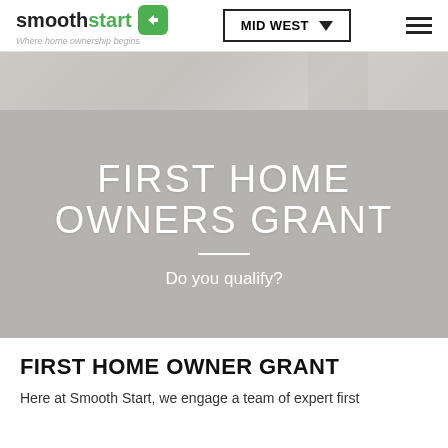smoothstart — Where home ownership begins | MID WEST
[Figure (photo): Blurred interior room photo strip at top of page]
FIRST HOME OWNERS GRANT
Do you qualify?
FIRST HOME OWNER GRANT
Here at Smooth Start, we engage a team of expert first